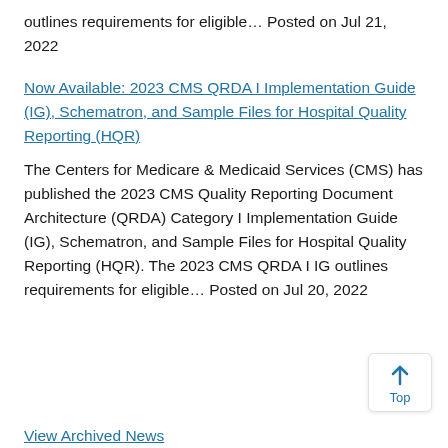outlines requirements for eligible… Posted on Jul 21, 2022
Now Available: 2023 CMS QRDA I Implementation Guide (IG), Schematron, and Sample Files for Hospital Quality Reporting (HQR)
The Centers for Medicare & Medicaid Services (CMS) has published the 2023 CMS Quality Reporting Document Architecture (QRDA) Category I Implementation Guide (IG), Schematron, and Sample Files for Hospital Quality Reporting (HQR). The 2023 CMS QRDA I IG outlines requirements for eligible… Posted on Jul 20, 2022
View Archived News